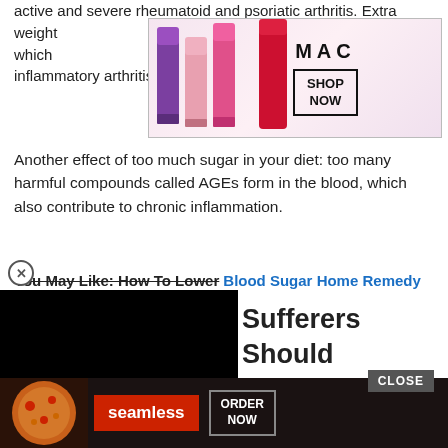active and severe rheumatoid and psoriatic arthritis. Extra weight ...s, which ...th inflammatory arthritis, say experts.
[Figure (screenshot): MAC cosmetics advertisement banner showing colorful lipsticks and a SHOP NOW button]
Another effect of too much sugar in your diet: too many harmful compounds called AGEs form in the blood, which also contribute to chronic inflammation.
You May Like: How To Lower Blood Sugar Home Remedy
[Figure (screenshot): Black video player overlay covering left portion of screen]
Sufferers Should
Arthritis stems from the degeneration and overuse of joints. It mostly affects the knees, fingers, and hips. Individuals with this co... often gets p... are many f...
[Figure (screenshot): Seamless food delivery advertisement with pizza image, seamless logo, and ORDER NOW button]